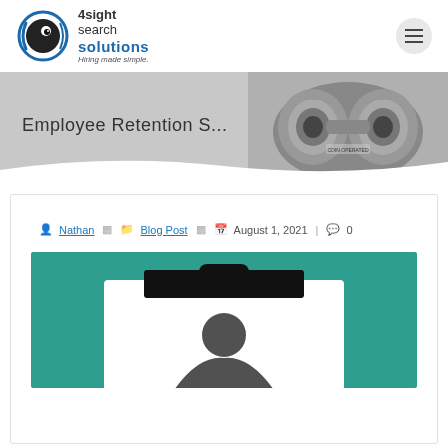[Figure (logo): 4sight search solutions logo with eye icon and tagline 'Hiring made simple.']
Employee Retention S...
[Figure (photo): Black and white photo of binoculars on grey banner background]
Nathan | Blog Post | August 1, 2021 | 0
[Figure (photo): Teal background with clipboard and person silhouette illustration]